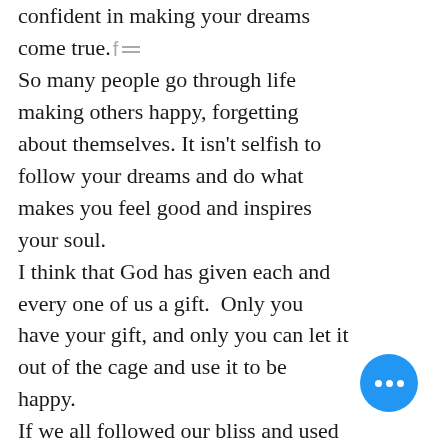confident in making your dreams come true. So many people go through life making others happy, forgetting about themselves. It isn't selfish to follow your dreams and do what makes you feel good and inspires your soul. I think that God has given each and every one of us a gift.  Only you have your gift, and only you can let it out of the cage and use it to be happy. If we all followed our bliss and used our gifts, I think we would all come together in a big puzzle and fit so